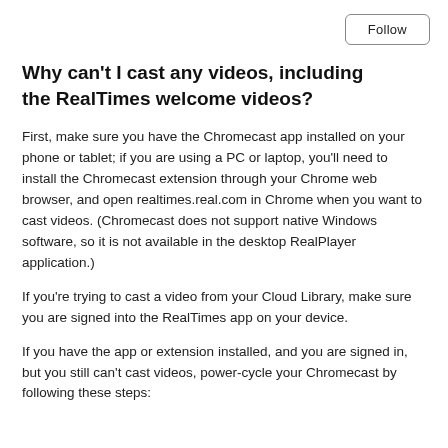Follow
Why can't I cast any videos, including the RealTimes welcome videos?
First, make sure you have the Chromecast app installed on your phone or tablet; if you are using a PC or laptop, you'll need to install the Chromecast extension through your Chrome web browser, and open realtimes.real.com in Chrome when you want to cast videos. (Chromecast does not support native Windows software, so it is not available in the desktop RealPlayer application.)
If you're trying to cast a video from your Cloud Library, make sure you are signed into the RealTimes app on your device.
If you have the app or extension installed, and you are signed in, but you still can't cast videos, power-cycle your Chromecast by following these steps: